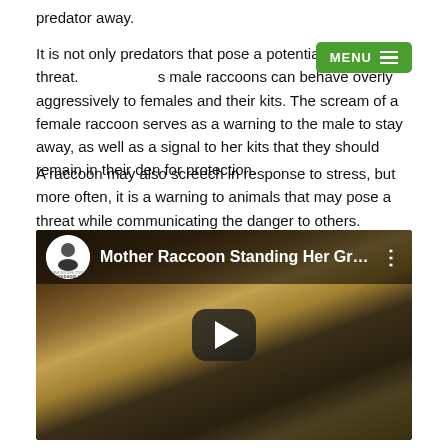predator away.
It is not only predators that pose a potential threat. In some cases, male raccoons can behave overly aggressively to females and their kits. The scream of a female raccoon serves as a warning to the male to stay away, as well as a signal to her kits that they should remain in their den for protection.
A raccoon may also screech in response to stress, but more often, it is a warning to animals that may pose a threat while communicating the danger to others.
[Figure (screenshot): Embedded YouTube video thumbnail showing a mother raccoon in an attic/crawl space among insulation. Video title reads 'Mother Raccoon Standing Her Grou...' from channel Skedaddle (Humane Wildlife Control). A play button is overlaid in the center.]